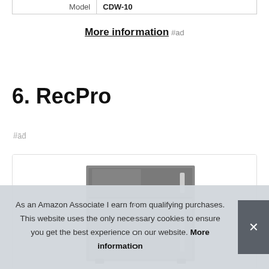| Model | CDW-10 |
More information #ad
6. RecPro
#ad
[Figure (photo): RecPro refrigerator product photo showing a stainless steel mini fridge]
As an Amazon Associate I earn from qualifying purchases. This website uses the only necessary cookies to ensure you get the best experience on our website. More information